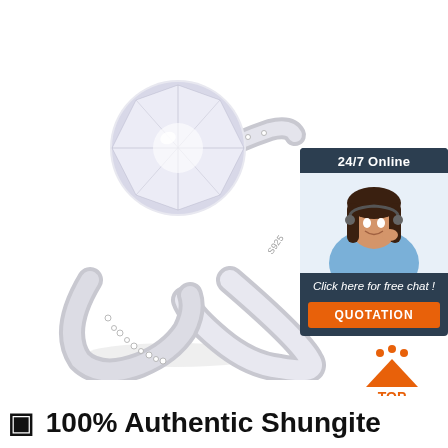[Figure (photo): Silver diamond engagement ring with a large round brilliant-cut CZ center stone set in a four-prong setting on a pave band, marked S925, photographed on white background]
[Figure (infographic): 24/7 Online chat support widget with dark blue background, showing a female customer service agent with headset, text 'Click here for free chat!' and an orange QUOTATION button]
[Figure (logo): TOP badge icon: orange triangle/crown shape with dots above it and the word TOP below in orange]
✓ 100% Authentic Shungite